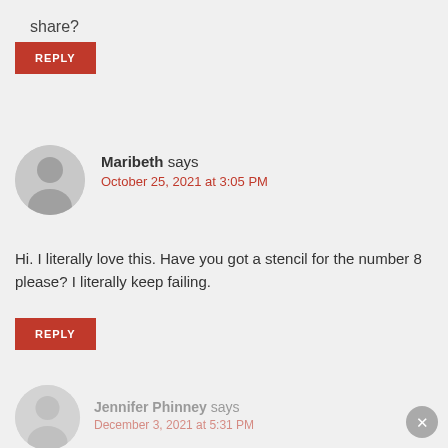share?
REPLY
Maribeth says
October 25, 2021 at 3:05 PM
Hi. I literally love this. Have you got a stencil for the number 8 please? I literally keep failing.
REPLY
Jennifer Phinney says
December 3, 2021 at 5:31 PM